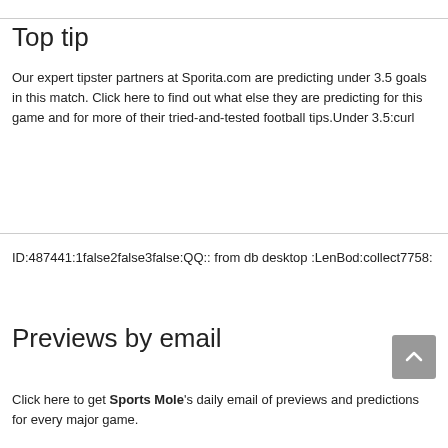Top tip
Our expert tipster partners at Sporita.com are predicting under 3.5 goals in this match. Click here to find out what else they are predicting for this game and for more of their tried-and-tested football tips.Under 3.5:curl
ID:487441:1false2false3false:QQ:: from db desktop :LenBod:collect7758:
Previews by email
Click here to get Sports Mole's daily email of previews and predictions for every major game.